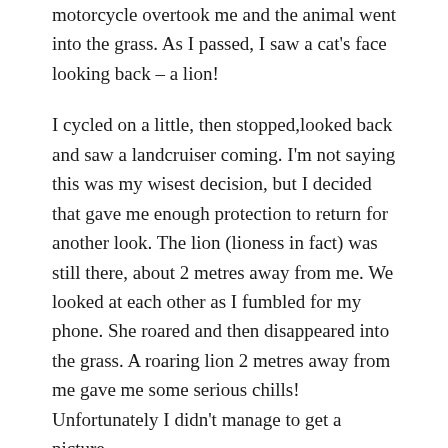motorcycle overtook me and the animal went into the grass. As I passed, I saw a cat's face looking back – a lion!
I cycled on a little, then stopped,looked back and saw a landcruiser coming. I'm not saying this was my wisest decision, but I decided that gave me enough protection to return for another look. The lion (lioness in fact) was still there, about 2 metres away from me. We looked at each other as I fumbled for my phone. She roared and then disappeared into the grass. A roaring lion 2 metres away from me gave me some serious chills! Unfortunately I didn't manage to get a picture.
Early in the afternoon thunder started, then light rain. As the rain turned torrential I was just a few kilometres away from a town, and there were some abandoned